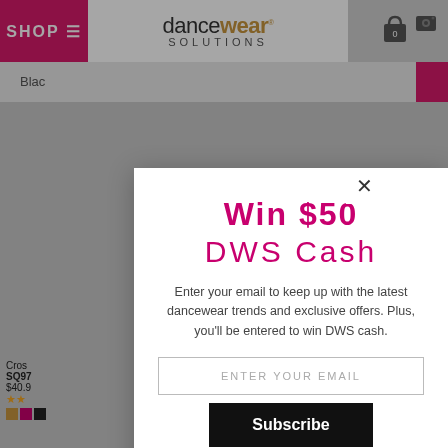[Figure (screenshot): Dancewear Solutions website background with navigation bar, logo, search bar, and product grid visible behind a modal popup overlay]
Win $50
DWS Cash
Enter your email to keep up with the latest dancewear trends and exclusive offers. Plus, you'll be entered to win DWS cash.
ENTER YOUR EMAIL
Subscribe
Every month, one new subscriber will win a $50 account credit.
You may unsubscribe at any time.
Privacy Policy